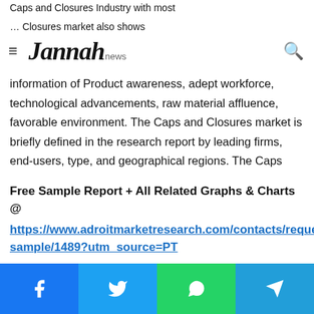Jannah news
information of Product awareness, adept workforce, technological advancements, raw material affluence, favorable environment. The Caps and Closures market is briefly defined in the research report by leading firms, end-users, type, and geographical regions. The Caps and Closures market analysis also provides information on the industry's current state, market share, competitive climate, current and potential trends, risks and opportunities, market factors, distributors, and distribution networks.
Free Sample Report + All Related Graphs & Charts @ https://www.adroitmarketresearch.com/contacts/request-sample/1489?utm_source=PT